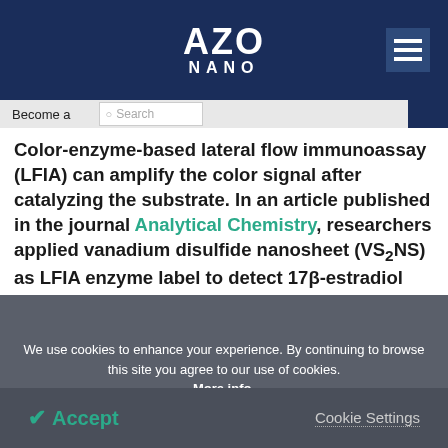[Figure (logo): AZO NANO website logo in white text on dark navy blue header bar]
Become a
Color-enzyme-based lateral flow immunoassay (LFIA) can amplify the color signal after catalyzing the substrate. In an article published in the journal Analytical Chemistry, researchers applied vanadium disulfide nanosheet (VS2NS) as LFIA enzyme label to detect 17β-estradiol (E2) and enhance LFIA tests.
We use cookies to enhance your experience. By continuing to browse this site you agree to our use of cookies. More info.
✔ Accept
Cookie Settings